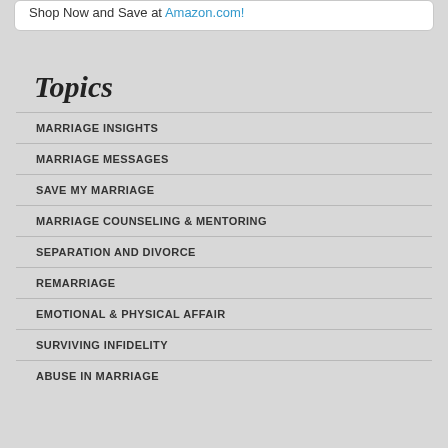Shop Now and Save at Amazon.com!
Topics
MARRIAGE INSIGHTS
MARRIAGE MESSAGES
SAVE MY MARRIAGE
MARRIAGE COUNSELING & MENTORING
SEPARATION AND DIVORCE
REMARRIAGE
EMOTIONAL & PHYSICAL AFFAIR
SURVIVING INFIDELITY
ABUSE IN MARRIAGE